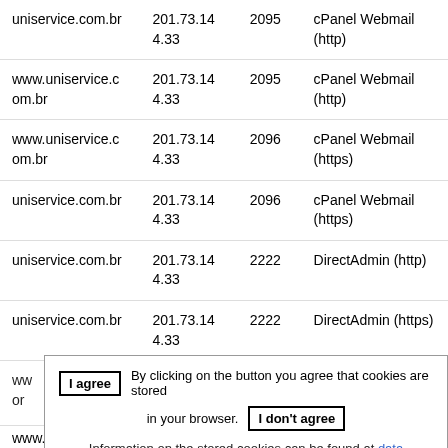| Host | IP | Port | Service |
| --- | --- | --- | --- |
| uniservice.com.br | 201.73.144.33 | 2095 | cPanel Webmail (http) |
| www.uniservice.com.br | 201.73.144.33 | 2095 | cPanel Webmail (http) |
| www.uniservice.com.br | 201.73.144.33 | 2096 | cPanel Webmail (https) |
| uniservice.com.br | 201.73.144.33 | 2096 | cPanel Webmail (https) |
| uniservice.com.br | 201.73.144.33 | 2222 | DirectAdmin (http) |
| uniservice.com.br | 201.73.144.33 | 2222 | DirectAdmin (https) |
| www.uniservice.com.br | 201.73.144.33 | 2222 | DirectAdmin (https) |
I agree   By clicking on the button you agree that cookies are stored in your browser.   I don't agree   Information on the stored cookies can be found at data protection#Cookies.